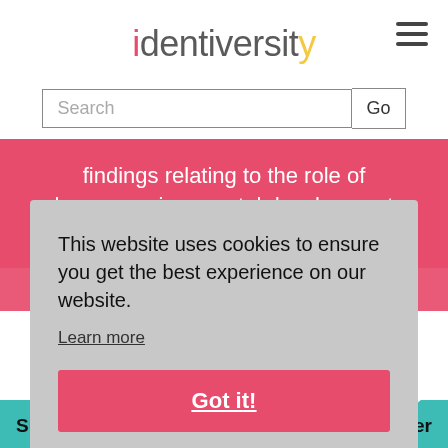identiversity
Search
findings relating to the role of hormones in prenatal development and sexual orientation.
Sexual Orientation, Controversy, and Science
This website uses cookies to ensure you get the best experience on our website.
Learn more
Got it!
Subscribe to our monthly newsletter to gather